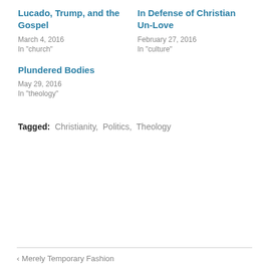Lucado, Trump, and the Gospel
March 4, 2016
In "church"
In Defense of Christian Un-Love
February 27, 2016
In "culture"
Plundered Bodies
May 29, 2016
In "theology"
Tagged: Christianity, Politics, Theology
‹ Merely Temporary Fashion